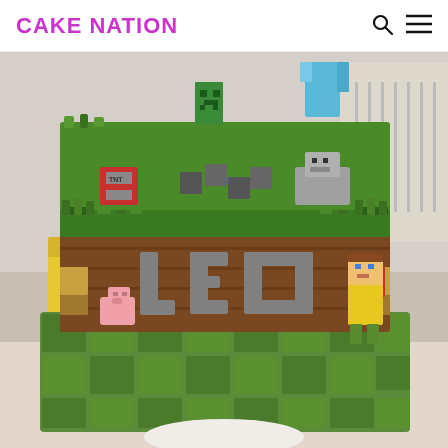CAKE NATION
[Figure (photo): A Minecraft-themed birthday cake decorated with fondant characters including a Creeper, Steve, a wolf, a pig, and Alex figures. The cake has green grass on top, brown dirt sides, and green grass block base. The name 'LEO' is spelled out in grey fondant letters on the front of the cake. A yellow chair is visible in the background.]